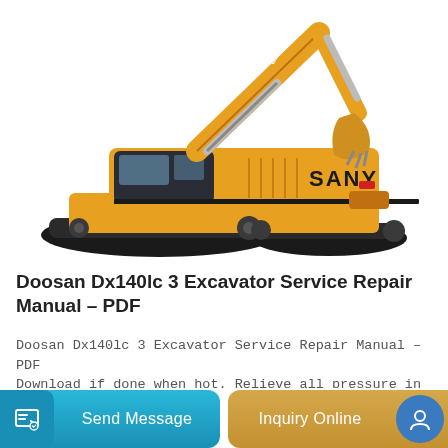[Figure (photo): Yellow SANY excavator with articulated arm raised, shown from a front-right angle on white background]
Doosan Dx140lc 3 Excavator Service Repair Manual – PDF
Doosan Dx140lc 3 Excavator Service Repair Manual – PDF Download if done when hot. Relieve all pressure in air system, hydraulic oil system, lubrication system, fuel…
Send Message
Inquiry Online